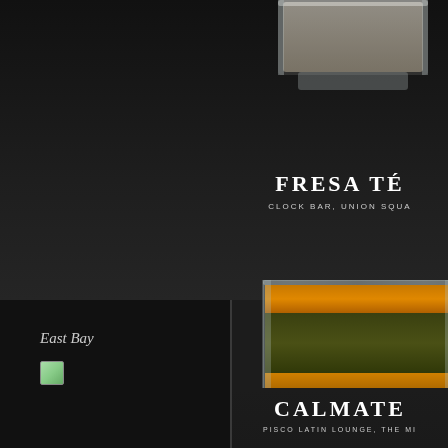[Figure (illustration): Partial glass vessel visible at top right, dark background, cocktail/drink menu page]
FRESA TÉ
CLOCK BAR, UNION SQUA
East Bay
[Figure (illustration): Small green leaf/plant icon below East Bay label]
[Figure (illustration): Layered cocktail in a rocks glass showing dark olive green and amber/orange horizontal stripes, partial view at right edge]
CALMATE
PISCO LATIN LOUNGE, THE MI